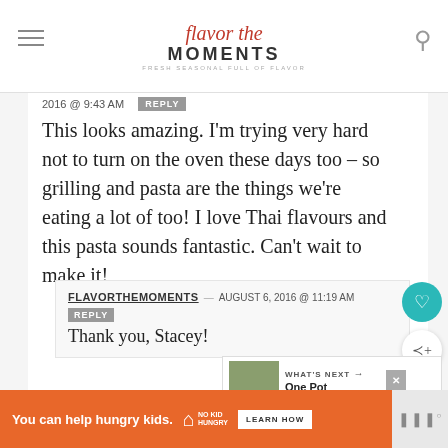Flavor the Moments
2016 @ 9:43 AM  REPLY
This looks amazing. I'm trying very hard not to turn on the oven these days too – so grilling and pasta are the things we're eating a lot of too! I love Thai flavours and this pasta sounds fantastic. Can't wait to make it!
FLAVORTHEMOMENTS — AUGUST 6, 2016 @ 11:19 AM  REPLY
Thank you, Stacey!
[Figure (infographic): What's Next widget showing One Pot Chicken Pes... with a food photo thumbnail]
You can help hungry kids.  NO KID HUNGRY  LEARN HOW